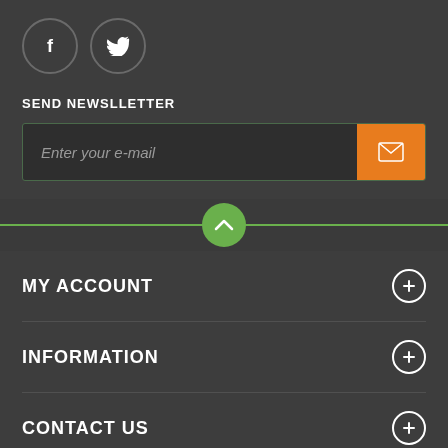[Figure (illustration): Two circular social media icons: Facebook (f) and Twitter (bird) with dark grey circle borders on dark background]
SEND NEWSLLETTER
[Figure (other): Email input field with placeholder 'Enter your e-mail' and orange submit button with envelope icon]
[Figure (other): Green horizontal divider line with centered green circle containing white chevron/up arrow]
MY ACCOUNT
INFORMATION
CONTACT US